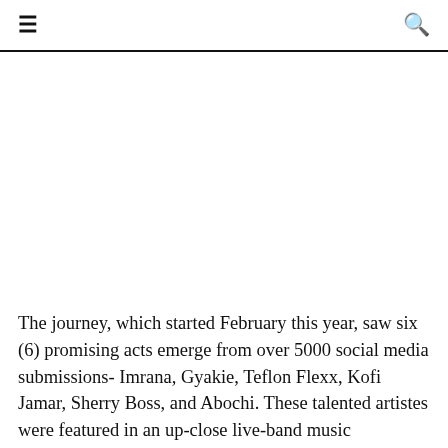≡  🔍
[Figure (photo): Large image placeholder area (white/blank) below the navigation header bar]
The journey, which started February this year, saw six (6) promising acts emerge from over 5000 social media submissions- Imrana, Gyakie, Teflon Flexx, Kofi Jamar, Sherry Boss, and Abochi. These talented artistes were featured in an up-close live-band music